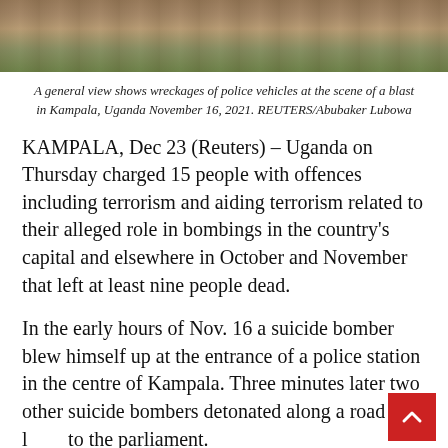[Figure (photo): Top portion of a photo showing wreckages of police vehicles at the scene of a blast in Kampala, Uganda. Visible are a concrete curb/ledge and green foliage in the background.]
A general view shows wreckages of police vehicles at the scene of a blast in Kampala, Uganda November 16, 2021. REUTERS/Abubaker Lubowa
KAMPALA, Dec 23 (Reuters) – Uganda on Thursday charged 15 people with offences including terrorism and aiding terrorism related to their alleged role in bombings in the country's capital and elsewhere in October and November that left at least nine people dead.
In the early hours of Nov. 16 a suicide bomber blew himself up at the entrance of a police station in the centre of Kampala. Three minutes later two other suicide bombers detonated along a road that leads to the parliament.